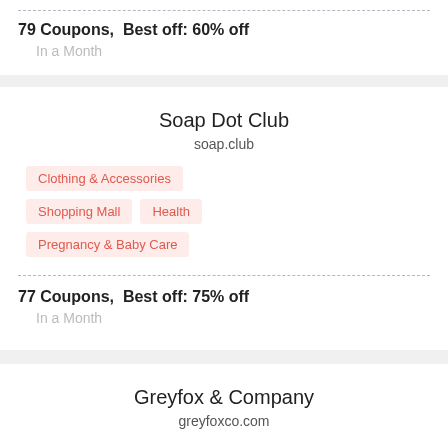79 Coupons,  Best off: 60% off
In a Month
Soap Dot Club
soap.club
Clothing & Accessories
Shopping Mall
Health
Pregnancy & Baby Care
77 Coupons,  Best off: 75% off
In a Month
Greyfox & Company
greyfoxco.com